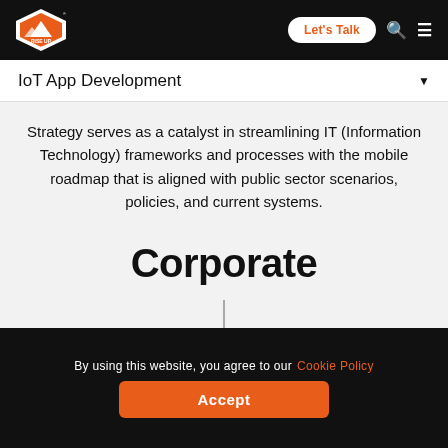[Figure (logo): Rise Up Labs logo — mountain/peak icon with orange and white coloring, white text RISE UP LABS on black background]
Let's Talk | Search | Menu
IoT App Development
Strategy serves as a catalyst in streamlining IT (Information Technology) frameworks and processes with the mobile roadmap that is aligned with public sector scenarios, policies, and current systems.
Corporate
By using this website, you agree to our Cookie Policy Accept